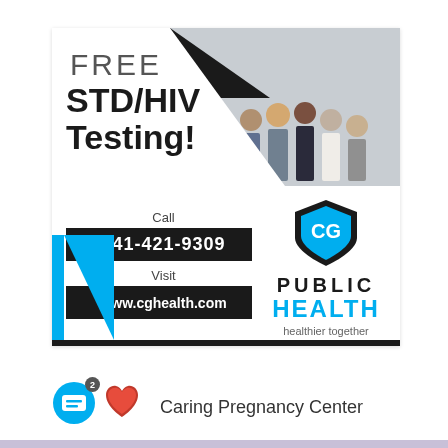[Figure (infographic): CG Public Health advertisement for Free STD/HIV Testing. Features a group photo in upper right, bold text on left reading FREE STD/HIV Testing! with phone number 641-421-9309 and website www.cghealth.com. CG Public Health logo with shield icon on right side. Blue and black color scheme.]
[Figure (logo): Caring Pregnancy Center logo with chat bubble icon and red heart icon]
Caring Pregnancy Center